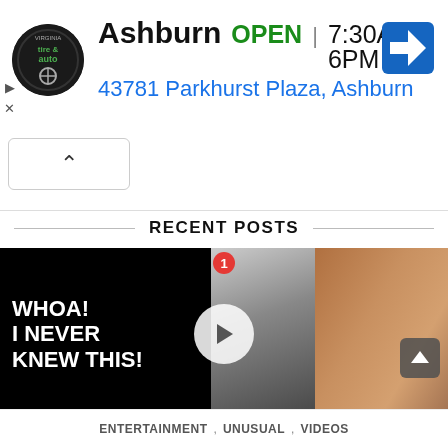[Figure (screenshot): Advertisement banner for Virginia Tire & Auto showing Ashburn location. Logo on left, store name 'Ashburn', status 'OPEN', hours '7:30AM–6PM', and address '43781 Parkhurst Plaza, Ashburn'. Navigation icon on right. Small play/close icons on far left. Collapse arrow button below.]
RECENT POSTS
[Figure (screenshot): Video thumbnail post showing bold white text 'WHOA! I NEVER KNEW THIS!' on black background on left half, and two black-and-white/color photos of muscular men on right half. Red badge with '1' at top center. Play button overlay in center.]
ENTERTAINMENT , UNUSUAL , VIDEOS